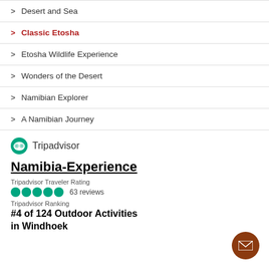Desert and Sea
Classic Etosha
Etosha Wildlife Experience
Wonders of the Desert
Namibian Explorer
A Namibian Journey
[Figure (logo): Tripadvisor owl logo with text 'Tripadvisor']
Namibia-Experience
Tripadvisor Traveler Rating
63 reviews
Tripadvisor Ranking
#4 of 124 Outdoor Activities in Windhoek